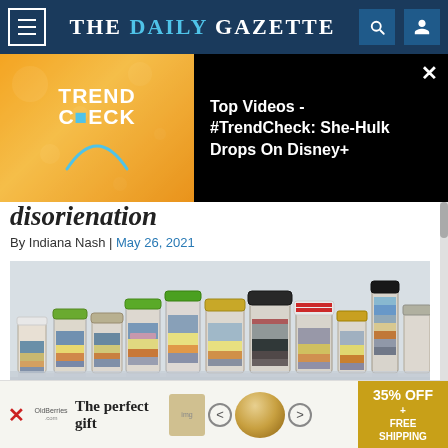THE DAILY GAZETTE
[Figure (screenshot): TrendCheck video ad overlay banner with orange/yellow background on left showing TRENDCHECK logo, and black background on right with text: Top Videos - #TrendCheck: She-Hulk Drops On Disney+. A close (x) button is in the top right.]
disorienation
By Indiana Nash | May 26, 2021
[Figure (photo): A row of various glass jars of different heights, shapes, and sizes, each containing layered colored sands depicting miniature landscapes — sunsets, skies, and terrain scenes. Jars have different colored lids (green, gold, dark). The image shows them lined up from left to right, reflected on a surface below.]
[Figure (screenshot): Bottom advertisement banner: 'The perfect gift' with food/bowl imagery and arrows, showing '35% OFF + FREE SHIPPING' on a gold/tan background. An X close button appears on the left side.]